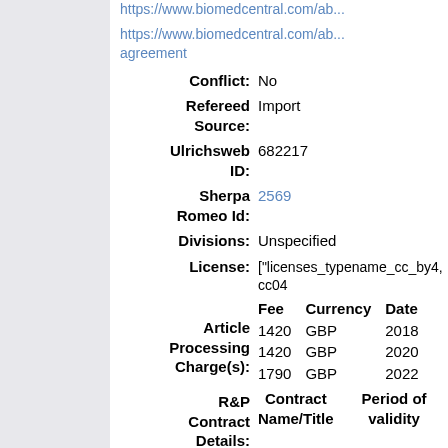https://www.biomedcentral.com/ab...
https://www.biomedcentral.com/ab... agreement
| Conflict: | No |
| Refereed Source: | Import |
| Ulrichsweb ID: | 682217 |
| Sherpa Romeo Id: | 2569 |
| Divisions: | Unspecified |
| License: | ["licenses_typename_cc_by4, cc04... |
| Fee | Currency | Date |
| --- | --- | --- |
| 1420 | GBP | 2018 |
| 1420 | GBP | 2020 |
| 1790 | GBP | 2022 |
| Contract Name/Title | Period of validity |
| --- | --- |
| Date Deposited: | 22 Oct 2012 17:26 |
| Last | 22 Jul 2022 00:20 |